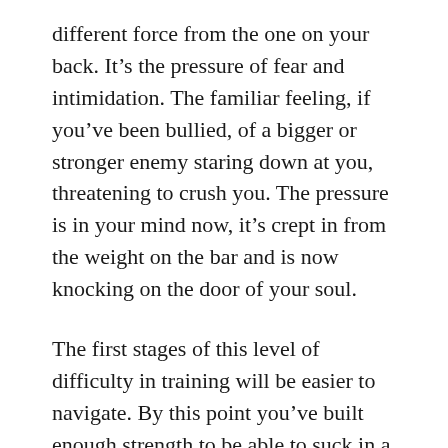different force from the one on your back. It's the pressure of fear and intimidation. The familiar feeling, if you've been bullied, of a bigger or stronger enemy staring down at you, threatening to crush you. The pressure is in your mind now, it's crept in from the weight on the bar and is now knocking on the door of your soul.
The first stages of this level of difficulty in training will be easier to navigate. By this point you've built enough strength to be able to suck in a deep breath and blow past the fear.
Later, when the weight becomes nearly unbearable, you'll learn to face it. Rather than